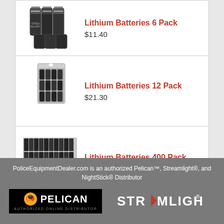[Figure (photo): Product photo of Lithium Batteries 6 Pack - black batteries grouped together]
Lithium Batteries 6 Pack
$11.40
[Figure (photo): Product photo of Lithium Batteries 12 Pack - batteries in blister pack]
Lithium Batteries 12 Pack
$21.30
[Figure (photo): Product photo of Lithium Batteries 400 Pack - large quantity of batteries]
Lithium Batteries 400 Pack
$644.30
PoliceEquipmentDealer.com is an authorized Pelican™, Streamlight®, and NightStick® Distributor